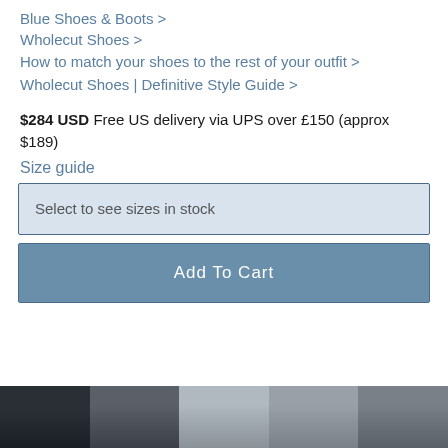Blue Shoes & Boots >
Wholecut Shoes >
How to match your shoes to the rest of your outfit >
Wholecut Shoes | Definitive Style Guide >
$284 USD Free US delivery via UPS over £150 (approx $189)
Size guide
Select to see sizes in stock
Add To Cart
[Figure (photo): Row of shoe product thumbnail images in dark, mid, light and grey tones at the bottom of the page]